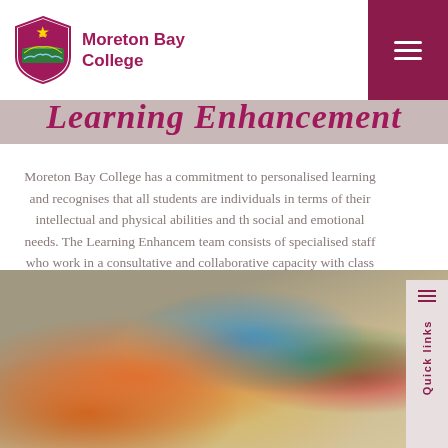Moreton Bay College
Learning Enhancement
Moreton Bay College has a commitment to personalised learning and recognises that all students are individuals in terms of their intellectual and physical abilities and their social and emotional needs. The Learning Enhancement team consists of specialised staff who work in a consultative and collaborative capacity with class teachers to assist in differentiating the curriculum to meet the learning needs of all students.
[Figure (photo): Child's hand playing with colorful wooden building blocks on a wooden surface]